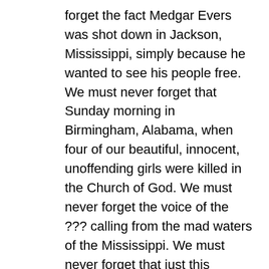forget the fact Medgar Evers was shot down in Jackson, Mississippi, simply because he wanted to see his people free. We must never forget that Sunday morning in Birmingham, Alabama, when four of our beautiful, innocent, unoffending girls were killed in the Church of God. We must never forget the voice of the ??? calling from the mad waters of the Mississippi. We must never forget that just this summer three civil rights workers were brutally murdered near Philadelphia, Mississippi. All of this reveals to us that we still have a long, long way to go. Since last May more than 40 churches-Negro